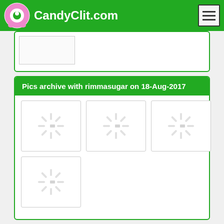CandyClit.com
[Figure (screenshot): Partial content card with image placeholder loading spinner]
Pics archive with rimmasugar on 18-Aug-2017
[Figure (screenshot): Grid of 4 image placeholders with loading spinners for rimmasugar archive dated 18-Aug-2017]